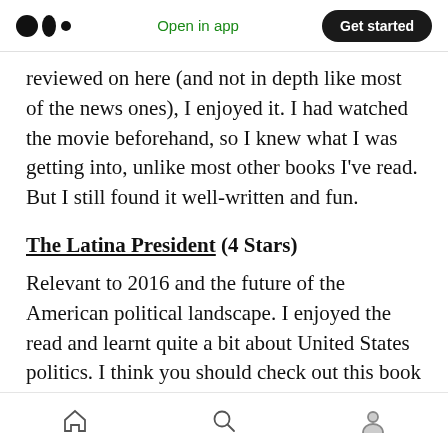Open in app | Get started
reviewed on here (and not in depth like most of the news ones), I enjoyed it. I had watched the movie beforehand, so I knew what I was getting into, unlike most other books I've read. But I still found it well-written and fun.
The Latina President (4 Stars)
Relevant to 2016 and the future of the American political landscape. I enjoyed the read and learnt quite a bit about United States politics. I think you should check out this book in the new year.
Home | Search | Profile